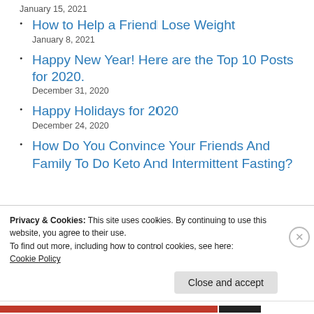January 15, 2021
How to Help a Friend Lose Weight
January 8, 2021
Happy New Year! Here are the Top 10 Posts for 2020.
December 31, 2020
Happy Holidays for 2020
December 24, 2020
How Do You Convince Your Friends And Family To Do Keto And Intermittent Fasting?
Privacy & Cookies: This site uses cookies. By continuing to use this website, you agree to their use.
To find out more, including how to control cookies, see here:
Cookie Policy
Close and accept